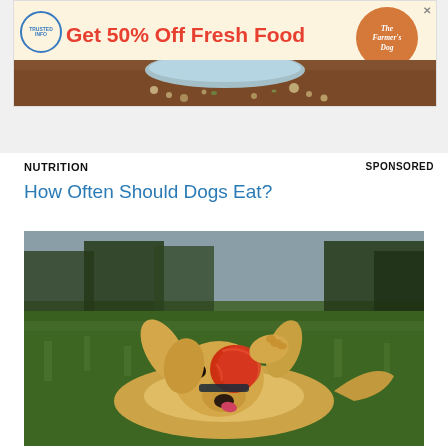[Figure (photo): Advertisement banner for The Farmer's Dog dog food: 'Get 50% Off Fresh Food' with logo and partial image of dog food bowl with crumbled food on wooden surface]
NUTRITION
SPONSORED
How Often Should Dogs Eat?
[Figure (photo): Golden retriever dog lying upside down on green grass, playing with a red ball, trees in background]